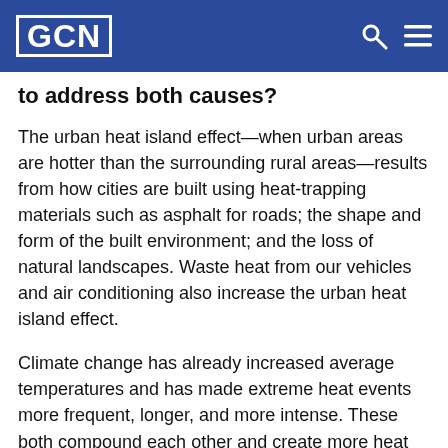GCN
to address both causes?
The urban heat island effect—when urban areas are hotter than the surrounding rural areas—results from how cities are built using heat-trapping materials such as asphalt for roads; the shape and form of the built environment; and the loss of natural landscapes. Waste heat from our vehicles and air conditioning also increase the urban heat island effect.
Climate change has already increased average temperatures and has made extreme heat events more frequent, longer, and more intense. These both compound each other and create more heat risk for our communities. The good news is that we